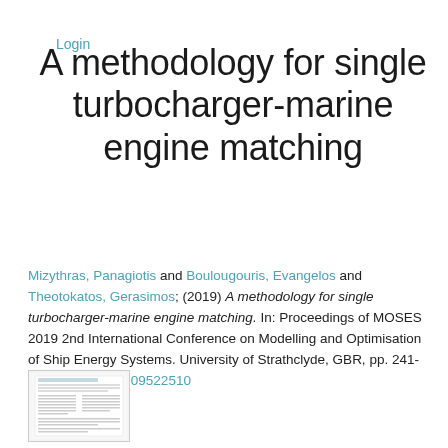Login
A methodology for single turbocharger-marine engine matching
Mizythras, Panagiotis and Boulougouris, Evangelos and Theotokatos, Gerasimos; (2019) A methodology for single turbocharger-marine engine matching. In: Proceedings of MOSES 2019 2nd International Conference on Modelling and Optimisation of Ship Energy Systems. University of Strathclyde, GBR, pp. 241-247. ISBN 9781909522510
[Figure (other): Thumbnail preview of the paper document]